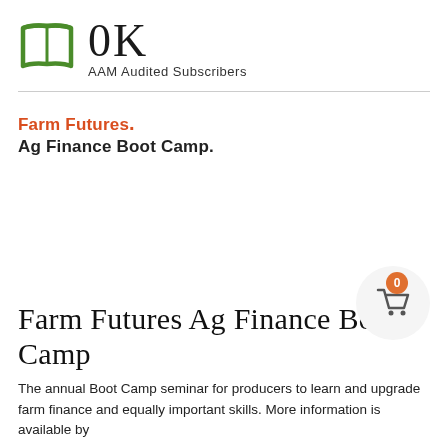[Figure (logo): Green open book icon with 0K text and AAM Audited Subscribers label]
AAM Audited Subscribers
[Figure (logo): Farm Futures. Ag Finance Boot Camp. brand logo]
Farm Futures Ag Finance Boot Camp
The annual Boot Camp seminar for producers to learn and upgrade farm finance and equally important skills. More information is available by